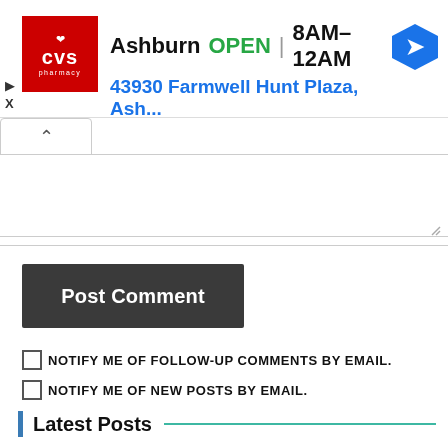[Figure (screenshot): CVS Pharmacy advertisement banner showing Ashburn location, OPEN status, hours 8AM-12AM, address 43930 Farmwell Hunt Plaza, Ash..., with navigation icon]
[Figure (screenshot): Collapsed comment textarea section with upward caret button]
Post Comment
NOTIFY ME OF FOLLOW-UP COMMENTS BY EMAIL.
NOTIFY ME OF NEW POSTS BY EMAIL.
Latest Posts
How to Start Your Own Business
9:03 pm 11 Aug 2022